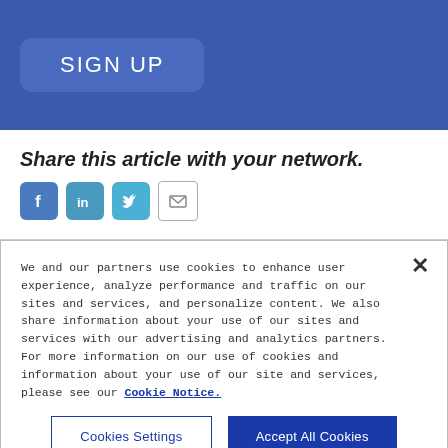[Figure (screenshot): Blue banner with a rounded rectangle 'SIGN UP' button in lighter blue on a dark blue background]
Share this article with your network.
[Figure (infographic): Social share icons: Facebook (blue), LinkedIn (teal-blue), Twitter (light blue), and email (white with envelope icon)]
We and our partners use cookies to enhance user experience, analyze performance and traffic on our sites and services, and personalize content. We also share information about your use of our sites and services with our advertising and analytics partners. For more information on our use of cookies and information about your use of our site and services, please see our Cookie Notice.
Cookies Settings
Accept All Cookies